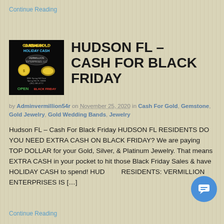Continue Reading
[Figure (photo): Black promotional image for Cash-4-Gold Holiday Cash at Vermillion Enterprises, showing gold jewelry, silver coins, and text 'OPEN BLACK FRIDAY' in neon colors.]
HUDSON FL – CASH FOR BLACK FRIDAY
by Adminvermillion54r on November 25, 2020 in Cash For Gold, Gemstone, Gold Jewelry, Gold Wedding Bands, Jewelry
Hudson FL – Cash For Black Friday HUDSON FL RESIDENTS DO YOU NEED EXTRA CASH ON BLACK FRIDAY? We are paying TOP DOLLAR for your Gold, Silver, & Platinum Jewelry. That means EXTRA CASH in your pocket to hit those Black Friday Sales & have HOLIDAY CASH to spend! HUDSON RESIDENTS: VERMILLION ENTERPRISES IS […]
Continue Reading